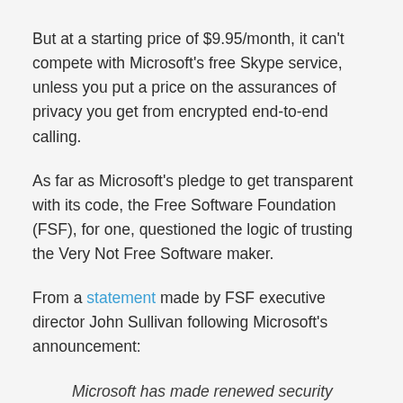But at a starting price of $9.95/month, it can't compete with Microsoft's free Skype service, unless you put a price on the assurances of privacy you get from encrypted end-to-end calling.
As far as Microsoft's pledge to get transparent with its code, the Free Software Foundation (FSF), for one, questioned the logic of trusting the Very Not Free Software maker.
From a statement made by FSF executive director John Sullivan following Microsoft's announcement:
Microsoft has made renewed security promises before. In the end, these promises are meaningless. Proprietary software like